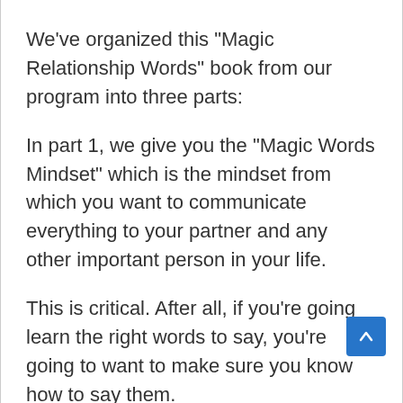We've organized this "Magic Relationship Words" book from our program into three parts:
In part 1, we give you the "Magic Words Mindset" which is the mindset from which you want to communicate everything to your partner and any other important person in your life.
This is critical. After all, if you're going learn the right words to say, you're going to want to make sure you know how to say them.